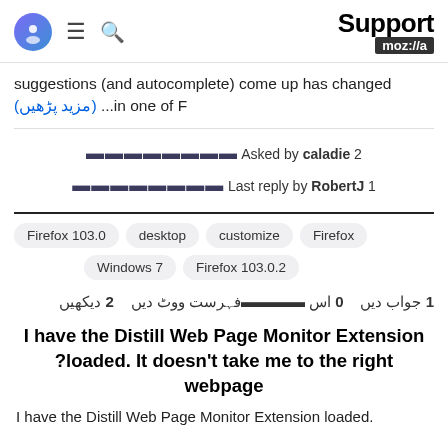Support moz://a
suggestions (and autocomplete) come up has changed (مزید پڑھیں) ...in one of F
مزید پڑھیں ...in one of F (arabic date icons) Asked by caladie 2 (arabic date icons) Last reply by RobertJ 1
Firefox 103.0   desktop   customize   Firefox   Windows 7   Firefox 103.0.2
1 جواب دیں  0 اس فہرست ووٹ دیں  2 دیکھیں
I have the Distill Web Page Monitor Extension loaded. It doesn't take me to the right webpage?
I have the Distill Web Page Monitor Extension loaded.